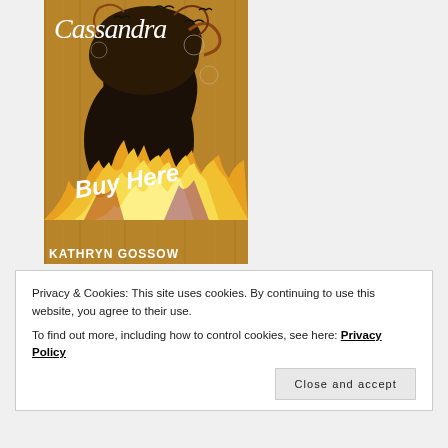[Figure (illustration): Book cover for 'Cassandra' by Kathryn Gossow. Dark artistic illustration showing a silhouette of a woman's head/profile with flames at the bottom and birds/clocks swirling above. Text 'Buy Here' overlaid in white bold italic. Title 'Cassandra' at top in decorative serif font, author name 'Kathryn Gossow' at bottom.]
Privacy & Cookies: This site uses cookies. By continuing to use this website, you agree to their use.
To find out more, including how to control cookies, see here: Privacy Policy
Close and accept